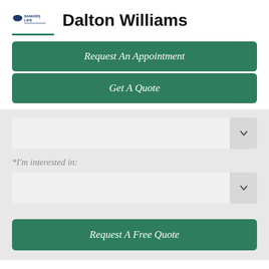[Figure (logo): Bankers Life logo in blue and red with eagle graphic]
Dalton Williams
Request An Appointment
Get A Quote
*I'm interested in:
Request A Free Quote